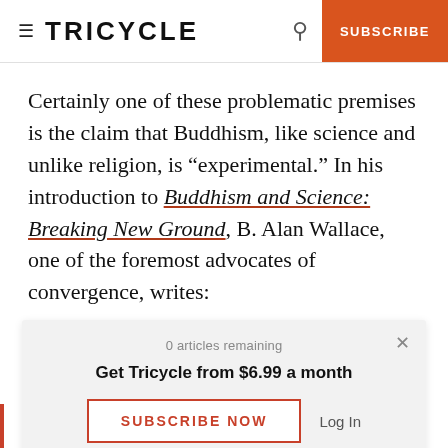TRICYCLE | SUBSCRIBE
Certainly one of these problematic premises is the claim that Buddhism, like science and unlike religion, is “experimental.” In his introduction to Buddhism and Science: Breaking New Ground, B. Alan Wallace, one of the foremost advocates of convergence, writes:
Buddhism, like science, presents itself
0 articles remaining
Get Tricycle from $6.99 a month
SUBSCRIBE NOW  Log In
mind and its relation to the physical